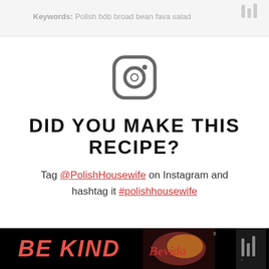Keywords: Polish bób broad bean fava salad
[Figure (logo): Instagram camera icon in gray]
DID YOU MAKE THIS RECIPE?
Tag @PolishHousewife on Instagram and hashtag it #polishhousewife
[Figure (photo): Advertisement banner: BE KIND with decorative illustration and close button]